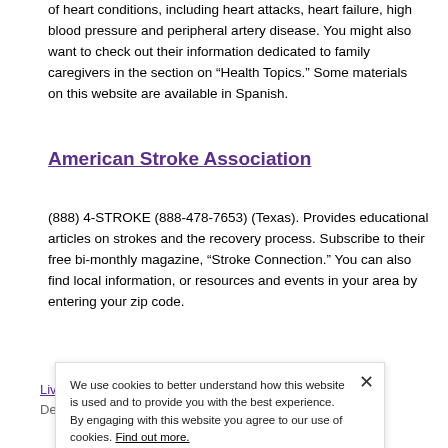of heart conditions, including heart attacks, heart failure, high blood pressure and peripheral artery disease. You might also want to check out their information dedicated to family caregivers in the section on “Health Topics.” Some materials on this website are available in Spanish.
American Stroke Association
(888) 4-STROKE (888-478-7653) (Texas). Provides educational articles on strokes and the recovery process. Subscribe to their free bi-monthly magazine, “Stroke Connection.” You can also find local information, or resources and events in your area by entering your zip code.
Living with Heart Failure
Developed by the American Heart Association, look
We use cookies to better understand how this website is used and to provide you with the best experience. By engaging with this website you agree to our use of cookies. Find out more.